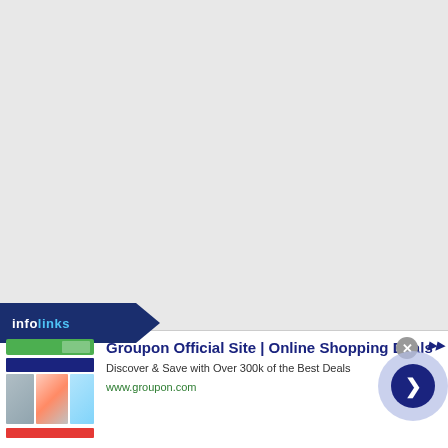[Figure (screenshot): Large light gray empty area taking up the top ~74% of the page, representing a webpage background]
[Figure (screenshot): Infolinks advertisement banner at the bottom of the page. Features the Infolinks badge/logo, a Groupon ad with thumbnails, title 'Groupon Official Site | Online Shopping Deals', description 'Discover & Save with Over 300k of the Best Deals', URL 'www.groupon.com', a close button (x), a navigation arrow circle button, and an ad indicator arrow.]